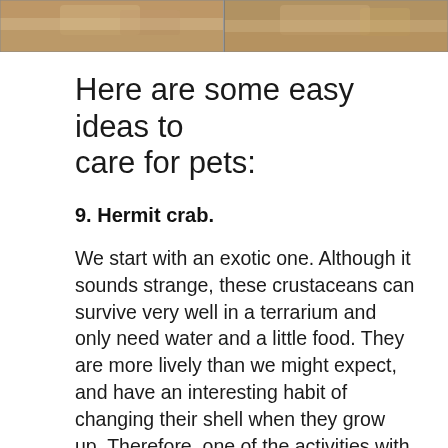[Figure (photo): Two side-by-side photos of pets (likely cats or similar animals) on a warm-toned background, partially cropped at top of page]
Here are some easy ideas to care for pets:
9. Hermit crab.
We start with an exotic one. Although it sounds strange, these crustaceans can survive very well in a terrarium and only need water and a little food. They are more lively than we might expect, and have an interesting habit of changing their shell when they grow up. Therefore, one of the activities with our little ones will be to look for shells for the different ages of the crab.